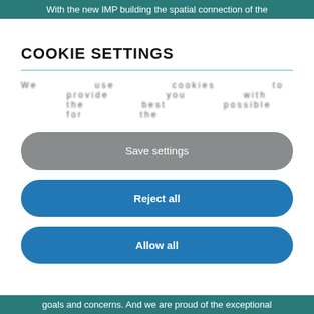With the new IMP building the spatial connection of the
COOKIE SETTINGS
... (blurred/obscured text) ...
Save settings
Reject all
Allow all
goals and concerns. And we are proud of the exceptional